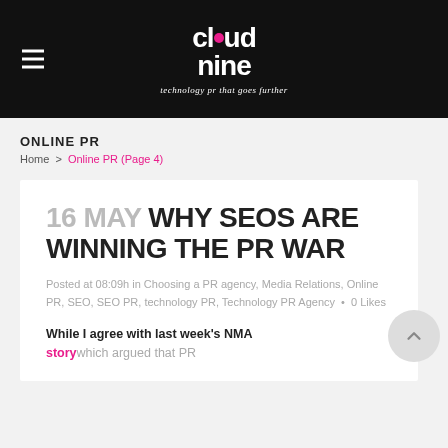cloud nine — technology pr that goes further
ONLINE PR
Home > Online PR (Page 4)
16 MAY WHY SEOS ARE WINNING THE PR WAR
Posted at 08:09h in Choosing a PR agency, Media Relations, Online PR, SEO, SEO PR, technology PR, Technology PR Agency  •  0 Likes
While I agree with last week's NMA story which argued that PR...